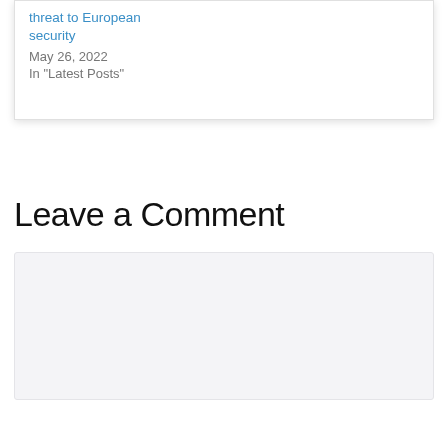threat to European security
May 26, 2022
In "Latest Posts"
Leave a Comment